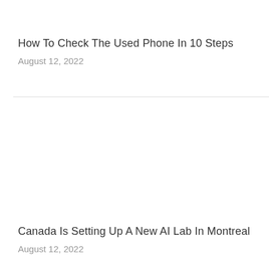How To Check The Used Phone In 10 Steps
August 12, 2022
Canada Is Setting Up A New AI Lab In Montreal
August 12, 2022